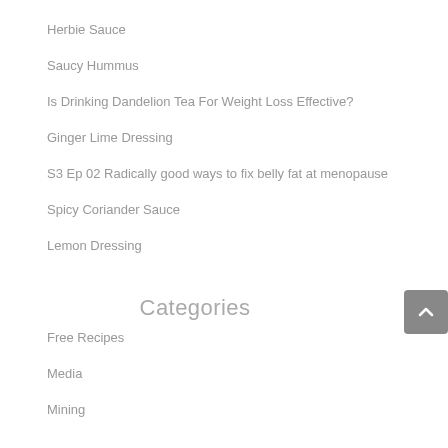Herbie Sauce
Saucy Hummus
Is Drinking Dandelion Tea For Weight Loss Effective?
Ginger Lime Dressing
S3 Ep 02 Radically good ways to fix belly fat at menopause
Spicy Coriander Sauce
Lemon Dressing
Categories
Free Recipes
Media
Mining